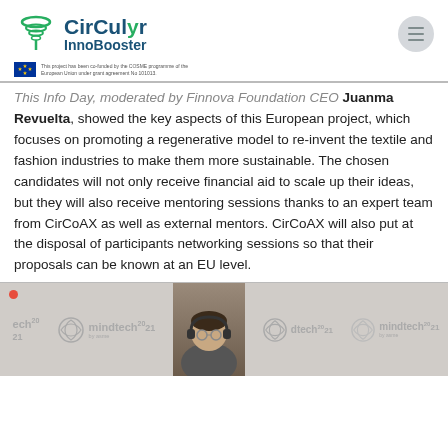[Figure (logo): CirCular InnoBooster logo with EU co-funded badge]
This Info Day, moderated by Finnova Foundation CEO Juanma Revuelta, showed the key aspects of this European project, which focuses on promoting a regenerative model to re-invent the textile and fashion industries to make them more sustainable. The chosen candidates will not only receive financial aid to scale up their ideas, but they will also receive mentoring sessions thanks to an expert team from CirCoAX as well as external mentors. CirCoAX will also put at the disposal of participants networking sessions so that their proposals can be known at an EU level.
[Figure (photo): Screenshot of a video conference showing a person with headphones in front of mindtech21 branded backgrounds, with tech21 and mindtech21 logos visible multiple times]